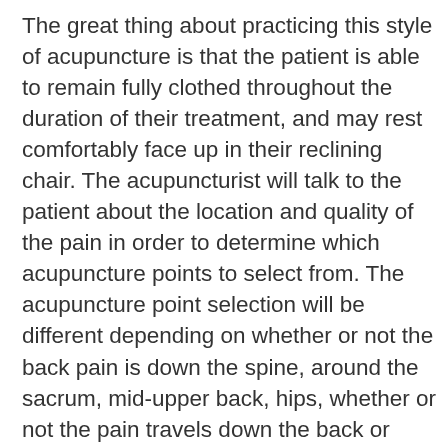The great thing about practicing this style of acupuncture is that the patient is able to remain fully clothed throughout the duration of their treatment, and may rest comfortably face up in their reclining chair. The acupuncturist will talk to the patient about the location and quality of the pain in order to determine which acupuncture points to select from. The acupuncture point selection will be different depending on whether or not the back pain is down the spine, around the sacrum, mid-upper back, hips, whether or not the pain travels down the back or sides of the legs, etc. The acupuncture treatment will be tailor-m[obscured]ach individual